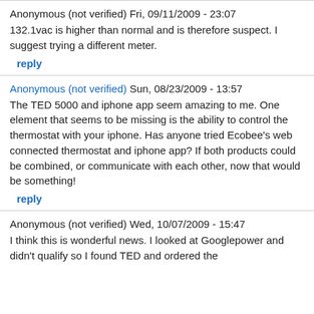Anonymous (not verified) Fri, 09/11/2009 - 23:07
132.1vac is higher than normal and is therefore suspect. I suggest trying a different meter.
reply
Anonymous (not verified) Sun, 08/23/2009 - 13:57
The TED 5000 and iphone app seem amazing to me. One element that seems to be missing is the ability to control the thermostat with your iphone. Has anyone tried Ecobee's web connected thermostat and iphone app? If both products could be combined, or communicate with each other, now that would be something!
reply
Anonymous (not verified) Wed, 10/07/2009 - 15:47
I think this is wonderful news. I looked at Googlepower and didn't qualify so I found TED and ordered the